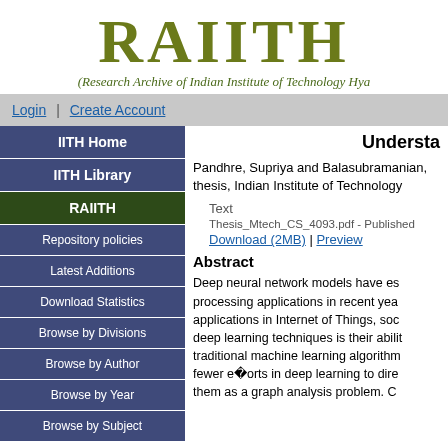[Figure (logo): RAIITH logo with text 'RAIITH' in large olive/dark yellow serif bold font, with decorative scrollwork beneath, and subtitle '(Research Archive of Indian Institute of Technology Hya...' in italic green font]
Login | Create Account
IITH Home
IITH Library
RAIITH
Repository policies
Latest Additions
Download Statistics
Browse by Divisions
Browse by Author
Browse by Year
Browse by Subject
Understa
Pandhre, Supriya and Balasubramanian, thesis, Indian Institute of Technology
Text
Thesis_Mtech_CS_4093.pdf - Published
Download (2MB) | Preview
Abstract
Deep neural network models have established processing applications in recent years. applications in Internet of Things, soc deep learning techniques is their ability traditional machine learning algorithms fewer e�orts in deep learning to direct them as a graph analysis problem. C